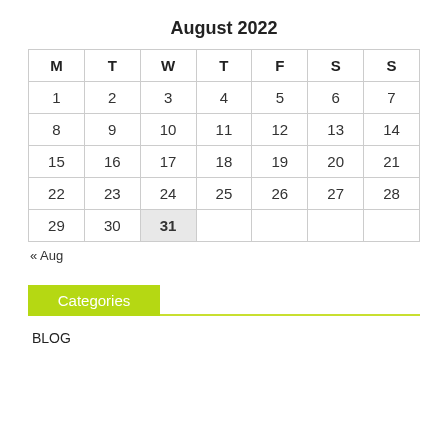August 2022
| M | T | W | T | F | S | S |
| --- | --- | --- | --- | --- | --- | --- |
| 1 | 2 | 3 | 4 | 5 | 6 | 7 |
| 8 | 9 | 10 | 11 | 12 | 13 | 14 |
| 15 | 16 | 17 | 18 | 19 | 20 | 21 |
| 22 | 23 | 24 | 25 | 26 | 27 | 28 |
| 29 | 30 | 31 |  |  |  |  |
« Aug
Categories
BLOG